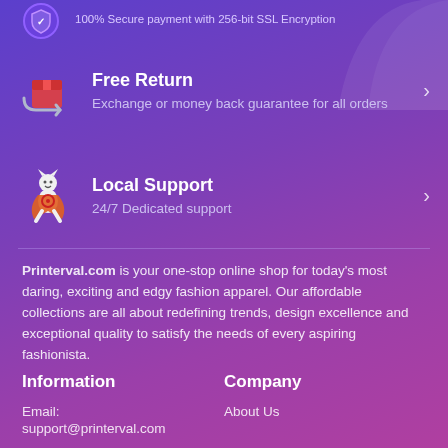100% Secure payment with 256-bit SSL Encryption
Free Return
Exchange or money back guarantee for all orders
Local Support
24/7 Dedicated support
Printerval.com is your one-stop online shop for today's most daring, exciting and edgy fashion apparel. Our affordable collections are all about redefining trends, design excellence and exceptional quality to satisfy the needs of every aspiring fashionista.
Information
Company
Email:
support@printerval.com
About Us